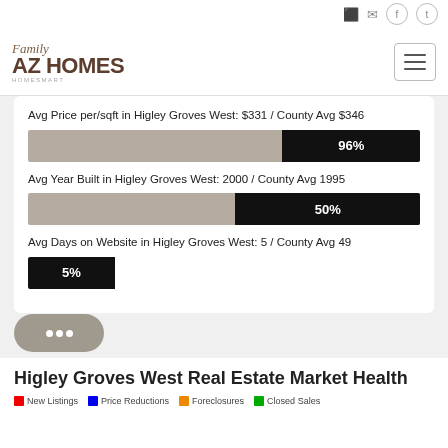[Figure (logo): Family AZ Homes Homesmart logo]
Avg Price per/sqft in Higley Groves West: $331 / County Avg $346
[Figure (bar-chart): Avg Price per/sqft bar]
Avg Year Built in Higley Groves West: 2000 / County Avg 1995
[Figure (bar-chart): Avg Year Built bar]
Avg Days on Website in Higley Groves West: 5 / County Avg 49
[Figure (bar-chart): Avg Days on Website bar]
Higley Groves West Real Estate Market Health